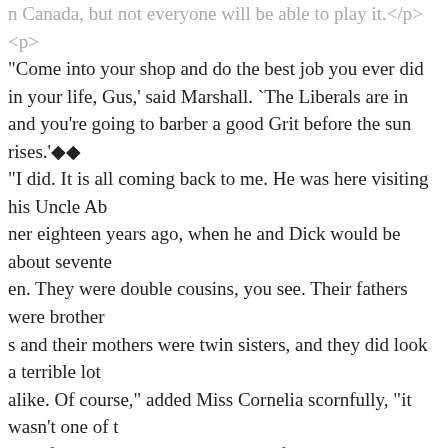n Canada, but not everyone will be able to play it.</p><p>
"Come into your shop and do the best job you ever did in your life, Gus,' said Marshall. `The Liberals are in and you're going to barber a good Grit before the sun rises.'◆◆
"I did. It is all coming back to me. He was here visiting his Uncle Abner eighteen years ago, when he and Dick would be about seventeen. They were double cousins, you see. Their fathers were brothers and their mothers were twin sisters, and they did look a terrible lot alike. Of course," added Miss Cornelia scornfully, "it wasn't one of those freak resemblances you read of in novels where two people are so much alike that they can fill each other's places and their nearest and dearest can't tell between them. In those days you could tell easy enough which was George and which was Dick, if you saw them together and near at hand. Apart, or some distance away, it wasn't so easy. They played lots of tricks on people and thought it great fun, the two scamps. George Moore was a little taller and a good deal fatter than Dick, though neither of them was what you would